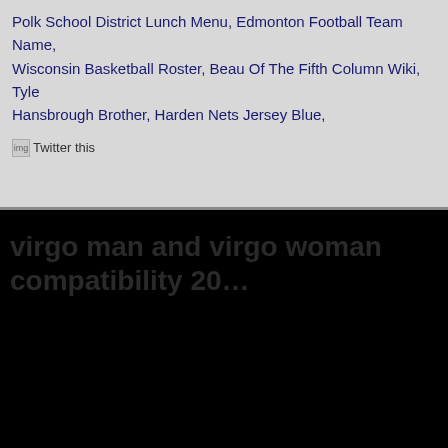Polk School District Lunch Menu, Edmonton Football Team Name, Wisconsin Basketball Roster, Beau Of The Fifth Column Wiki, Tyler Hansbrough Brother, Harden Nets Jersey Blue,
[Figure (other): Twitter this button/link with broken image placeholder]
virgo man and virgo woman compatibility 20...